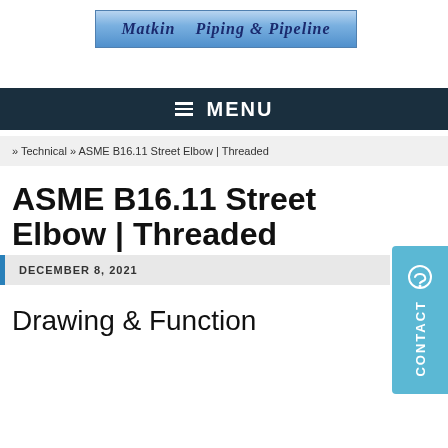[Figure (logo): Website header banner showing company name with piping and pipeline text in italic bold dark blue on a gradient blue background]
MENU
» Technical » ASME B16.11 Street Elbow | Threaded
ASME B16.11 Street Elbow | Threaded
DECEMBER 8, 2021
Drawing & Function
[Figure (other): Contact sidebar button in light blue with speech bubble icon and vertical CONTACT text]